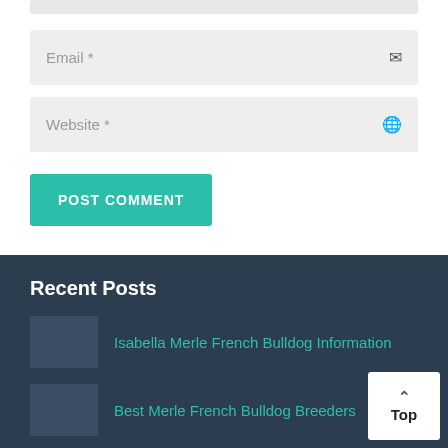Email *
Website *
POST COMMENT
Recent Posts
Isabella Merle French Bulldog Information
Best Merle French Bulldog Breeders
Best Food for Merle French Bulldog
Top